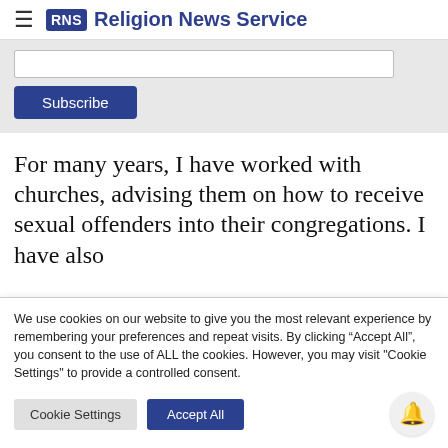≡ RNS Religion News Service
[Figure (screenshot): Subscribe input field and button on grey background]
For many years, I have worked with churches, advising them on how to receive sexual offenders into their congregations. I have also
We use cookies on our website to give you the most relevant experience by remembering your preferences and repeat visits. By clicking "Accept All", you consent to the use of ALL the cookies. However, you may visit "Cookie Settings" to provide a controlled consent.